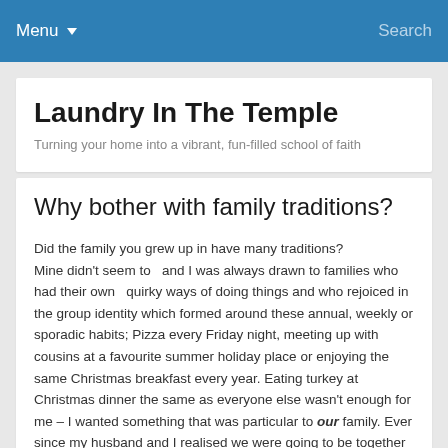Menu  Search
Laundry In The Temple
Turning your home into a vibrant, fun-filled school of faith
Why bother with family traditions?
Did the family you grew up in have many traditions?
Mine didn't seem to  and I was always drawn to families who had their own  quirky ways of doing things and who rejoiced in the group identity which formed around these annual, weekly or sporadic habits; Pizza every Friday night, meeting up with cousins at a favourite summer holiday place or enjoying the same Christmas breakfast every year. Eating turkey at Christmas dinner the same as everyone else wasn't enough for me – I wanted something that was particular to our family. Ever since my husband and I realised we were going to be together for a long time, we very naturally started to build family traditions together and these have just multiplied as our family has grown.